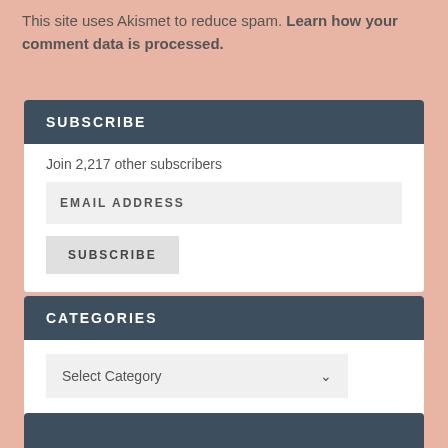This site uses Akismet to reduce spam. Learn how your comment data is processed.
SUBSCRIBE
Join 2,217 other subscribers
EMAIL ADDRESS
SUBSCRIBE
CATEGORIES
Select Category